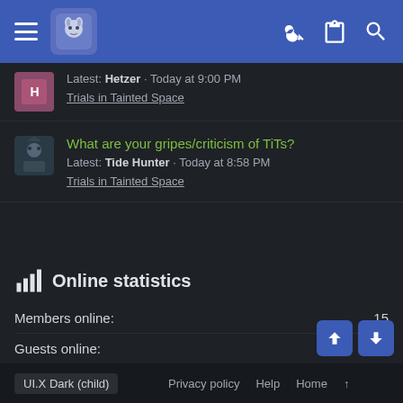Navigation bar with hamburger menu, logo, key icon, clipboard icon, and search icon
Latest: Hetzer · Today at 9:00 PM
Trials in Tainted Space
What are your gripes/criticism of TiTs?
Latest: Tide Hunter · Today at 8:58 PM
Trials in Tainted Space
Online statistics
|  |  |
| --- | --- |
| Members online: | 15 |
| Guests online: | 157 |
| Total visitors: | 172 |
Totals may include hidden visitors.
UI.X Dark (child)  Privacy policy  Help  Home  ↑